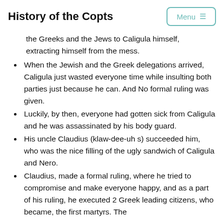History of the Copts
the Greeks and the Jews to Caligula himself, extracting himself from the mess.
When the Jewish and the Greek delegations arrived, Caligula just wasted everyone time while insulting both parties just because he can. And No formal ruling was given.
Luckily, by then, everyone had gotten sick from Caligula and he was assassinated by his body guard.
His uncle Claudius (klaw-dee-uh s) succeeded him, who was the nice filling of the ugly sandwich of Caligula and Nero.
Claudius, made a formal ruling, where he tried to compromise and make everyone happy, and as a part of his ruling, he executed 2 Greek leading citizens, who became, the first martyrs. The